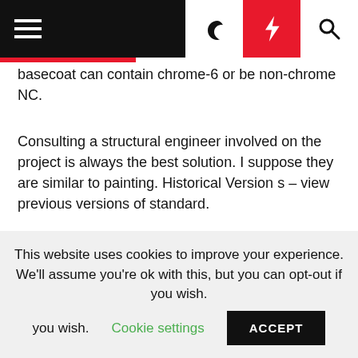Navigation bar with hamburger menu, moon icon, lightning bolt icon, and search icon
basecoat can contain chrome-6 or be non-chrome NC.
Consulting a structural engineer involved on the project is always the best solution. I suppose they are similar to painting. Historical Version s – view previous versions of standard.
High Strength Bolts Coatings
Your first question, is it appropriate to specify ASTM F Grade 3would be best answered by an engineer familiar with the coating and the application. Link to
This website uses cookies to improve your experience. We'll assume you're ok with this, but you can opt-out if you wish. Cookie settings ACCEPT